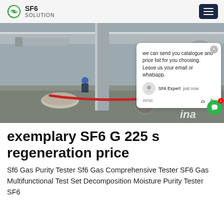SF6 SOLUTION
[Figure (photo): Industrial SF6 gas equipment installation site with workers and large pipes/valves. A chat popup overlay reads: 'we can send you catalogue and price list for you choosing. Leave us your email or whatsapp.' with SF6 Expert and 'justnow' shown below.]
exemplary SF6 G 225 s regeneration price
Sf6 Gas Purity Tester Sf6 Gas Comprehensive Tester SF6 Gas Multifunctional Test Set Decomposition Moisture Purity Tester SF6